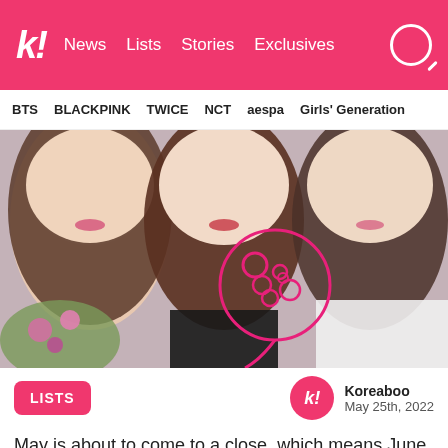k! News  Lists  Stories  Exclusives
BTS  BLACKPINK  TWICE  NCT  aespa  Girls' Generation
[Figure (photo): Three K-Pop female idols photographed together, partially cropped showing their faces with decorative pink circle overlays/graphics on the image]
LISTS
Koreaboo
May 25th, 2022
May is about to come to a close, which means June is right around the corner, and along with it comes a month of new K-Pop idol birthdays to celebrate! From rookies born in the early 2000s to legendary idols born in the late 1980s, June is